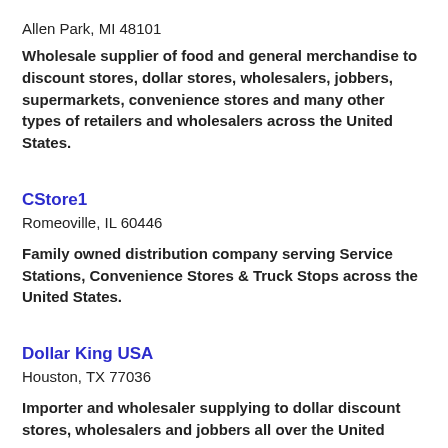Allen Park, MI 48101
Wholesale supplier of food and general merchandise to discount stores, dollar stores, wholesalers, jobbers, supermarkets, convenience stores and many other types of retailers and wholesalers across the United States.
CStore1
Romeoville, IL 60446
Family owned distribution company serving Service Stations, Convenience Stores & Truck Stops across the United States.
Dollar King USA
Houston, TX 77036
Importer and wholesaler supplying to dollar discount stores, wholesalers and jobbers all over the United